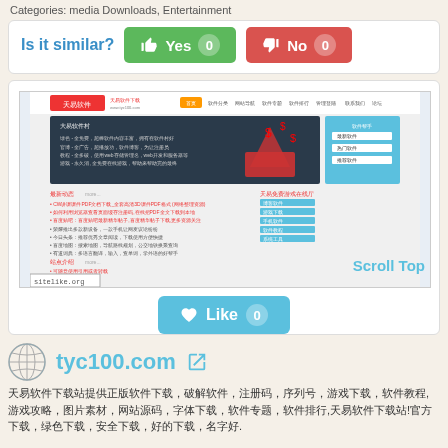Categories: media Downloads, Entertainment
Is it similar?
Yes 0
No 0
[Figure (screenshot): Screenshot of a Chinese website (tyc100.com / tianyi software) with red header, navigation menu, a dark banner with red gift box and dollar signs, and multiple columns of Chinese text content. A sitelike.org watermark appears at bottom left.]
Scroll Top
Like 0
tyc100.com
天易软件下载站提供正版软件下载，破解软件，注册码，序列号，游戏下载，软件教程,游戏攻略，图片素材，网站源码，字体下载，软件专题，软件排行,天易软件下载站!官方下载，绿色下载，安全下载，好的下载，名字好.